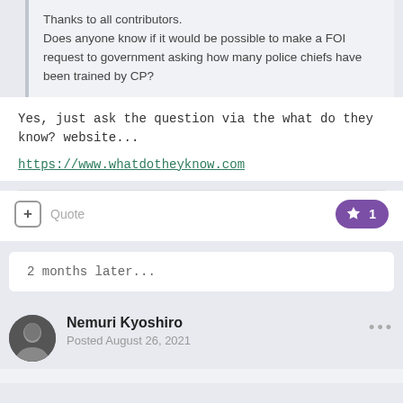Thanks to all contributors.
Does anyone know if it would be possible to make a FOI request to government asking how many police chiefs have been trained by CP?
Yes, just ask the question via the what do they know? website...
https://www.whatdotheyknow.com
2 months later...
Nemuri Kyoshiro
Posted August 26, 2021